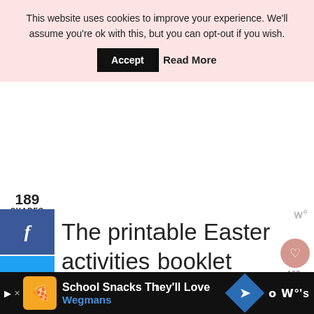This website uses cookies to improve your experience. We'll assume you're ok with this, but you can opt-out if you wish. Accept  Read More
189 SHARES
[Figure (infographic): Social share buttons: Facebook (f icon), Twitter (bird icon), Pinterest (p icon) in a vertical sidebar]
The printable Easter activities booklet has a total of 5 pages for children to work on. The booklet includes Easter coloring pages, a m…
[Figure (infographic): Wegmans advertisement bar at bottom with School Snacks They'll Love text and blue diamond arrow icon, plus w° logo on right]